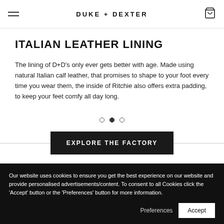DUKE + DEXTER
ITALIAN LEATHER LINING
The lining of D+D's only ever gets better with age. Made using natural Italian calf leather, that promises to shape to your foot every time you wear them, the inside of Ritchie also offers extra padding, to keep your feet comfy all day long.
[Figure (other): Carousel navigation dots: three dots, second one filled/active]
EXPLORE THE FACTORY
Our website uses cookies to ensure you get the best experience on our website and provide personalised advertisements/content. To consent to all Cookies click the 'Accept' button or the 'Preferences' button for more information.